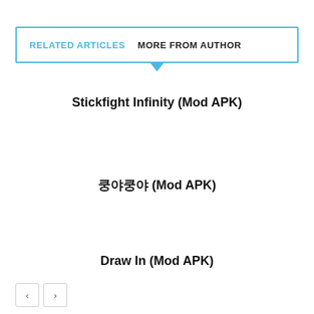RELATED ARTICLES   MORE FROM AUTHOR
Stickfight Infinity (Mod APK)
쿵야쿵야 (Mod APK)
Draw In (Mod APK)